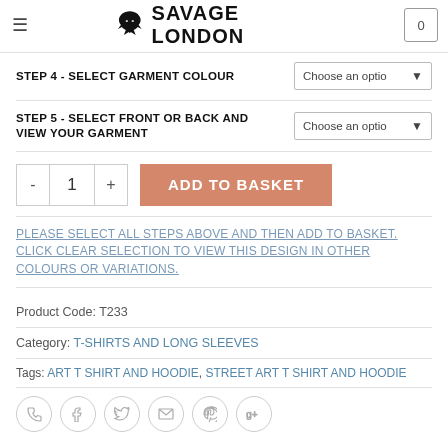SAVAGE LONDON
STEP 4 - SELECT GARMENT COLOUR
STEP 5 - SELECT FRONT OR BACK AND VIEW YOUR GARMENT
- 1 +  ADD TO BASKET
PLEASE SELECT ALL STEPS ABOVE AND THEN ADD TO BASKET. CLICK CLEAR SELECTION TO VIEW THIS DESIGN IN OTHER COLOURS OR VARIATIONS.
Product Code: T233
Category: T-SHIRTS AND LONG SLEEVES
Tags: ART T SHIRT AND HOODIE, STREET ART T SHIRT AND HOODIE